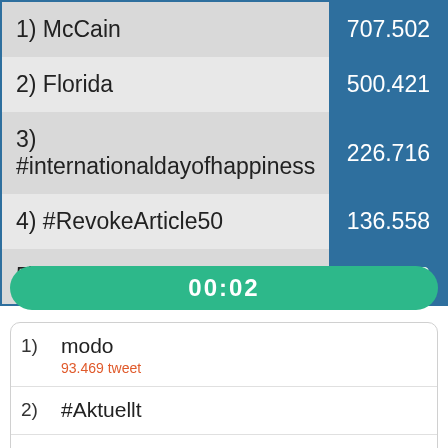| Topic | Count |
| --- | --- |
| 1) McCain | 707.502 |
| 2) Florida | 500.421 |
| 3) #internationaldayofhappiness | 226.716 |
| 4) #RevokeArticle50 | 136.558 |
| 5) #WorldPoetryDay | 122.793 |
00:02
1) modo
93.469 tweet
2) #Aktuellt
3) Telia
4) #leksandsif